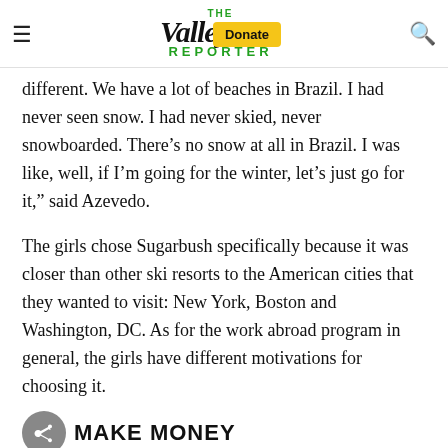THE Valley REPORTER [Donate] [Search]
different. We have a lot of beaches in Brazil. I had never seen snow. I had never skied, never snowboarded. There’s no snow at all in Brazil. I was like, well, if I’m going for the winter, let’s just go for it,” said Azevedo.
The girls chose Sugarbush specifically because it was closer than other ski resorts to the American cities that they wanted to visit: New York, Boston and Washington, DC. As for the work abroad program in general, the girls have different motivations for choosing it.
MAKE MONEY